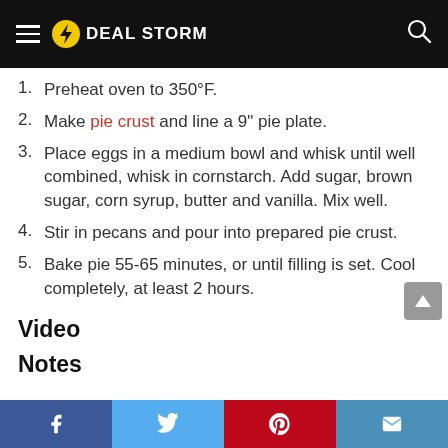Deal Storm
Preheat oven to 350°F.
Make pie crust and line a 9" pie plate.
Place eggs in a medium bowl and whisk until well combined, whisk in cornstarch. Add sugar, brown sugar, corn syrup, butter and vanilla. Mix well.
Stir in pecans and pour into prepared pie crust.
Bake pie 55-65 minutes, or until filling is set. Cool completely, at least 2 hours.
Video
Notes